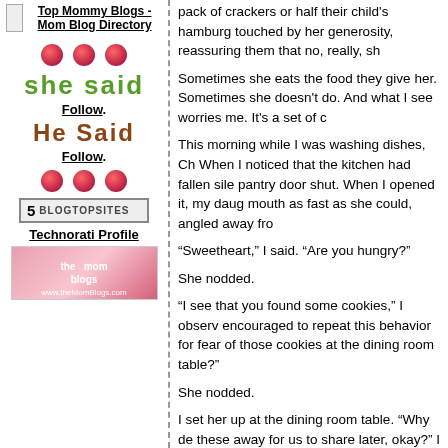[Figure (logo): Top Mommy Blogs - Mom Blog Directory link with small image]
[Figure (illustration): Three red semicircle dots above She Said logo]
she said
Follow.
He Said
Follow.
[Figure (illustration): Three red semicircle dots]
[Figure (other): BlogTopSites badge showing number 5]
Technorati Profile
[Figure (logo): the mom blogs www.theMomBlogs.com banner]
pack of crackers or half their child's hamburger, touched by her generosity, reassuring them that no, really, sh
Sometimes she eats the food they give her. Sometimes she doesn't do. And what I see worries me. It's a set of c
This morning while I was washing dishes, Ch When I noticed that the kitchen had fallen sile pantry door shut. When I opened it, my daug mouth as fast as she could, angled away fro
“Sweetheart,” I said. “Are you hungry?”
She nodded.
“I see that you found some cookies,” I observ encouraged to repeat this behavior for fear of those cookies at the dining room table?”
She nodded.
I set her up at the dining room table. “Why d these away for us to share later, okay?” I sai something else to eat or anything to drink an snap peas, a peanut butter and banana sand
She sat on my lap and ate the peas and ate t we talked about food. “Thank you,” she said
I smiled at her.
And as she scampered off, eager to fetch the an hour making a beautiful artsy mess on the and I have never withheld food from our daug